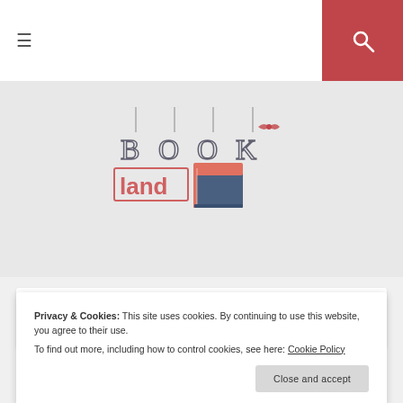≡  [search icon]
[Figure (logo): Book Land blog logo with hanging letters B, O, O, K above and 'land' in a red outlined box with an illustrated book]
Tag: an amber in the ashes
Privacy & Cookies: This site uses cookies. By continuing to use this website, you agree to their use.
To find out more, including how to control cookies, see here: Cookie Policy
Close and accept
Recommednation! An Amber